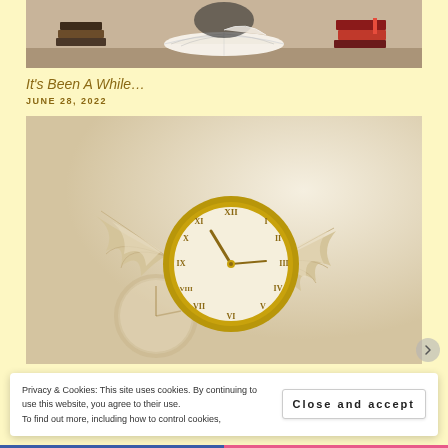[Figure (photo): Person in academic gown reading/flipping through an open book, with stacks of books in the background]
It's Been A While…
JUNE 28, 2022
[Figure (photo): A golden pocket watch with wings flying through the air, with another blurred clock in the background — symbolic of time flying]
Privacy & Cookies: This site uses cookies. By continuing to use this website, you agree to their use.
To find out more, including how to control cookies,